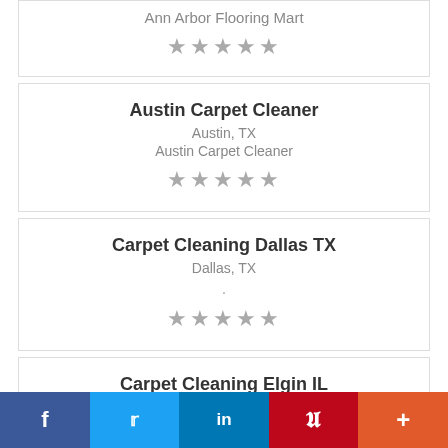Ann Arbor Flooring Mart
★★★★★
Austin Carpet Cleaner
Austin, TX
Austin Carpet Cleaner
★★★★★
Carpet Cleaning Dallas TX
Dallas, TX
.
★★★★★
Carpet Cleaning Elgin IL
Elgin, IL
N/A
f  Twitter  in  P  +